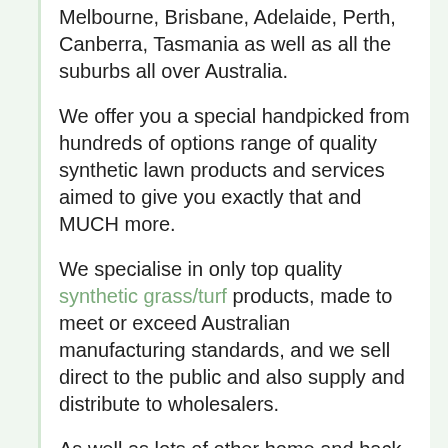Melbourne, Brisbane, Adelaide, Perth, Canberra, Tasmania as well as all the suburbs all over Australia.
We offer you a special handpicked from hundreds of options range of quality synthetic lawn products and services aimed to give you exactly that and MUCH more.
We specialise in only top quality synthetic grass/turf products, made to meet or exceed Australian manufacturing standards, and we sell direct to the public and also supply and distribute to wholesalers.
As well as lots of other home and back yard products like Stainless Still Outdoor Showers, Sheds, Garages, most realistic Artificial Plants and Trees, Chicken coops, Dog Cannels.
And ones you get your life back by having installed one of our artificial lawns we also have a large selection of Games Tables like